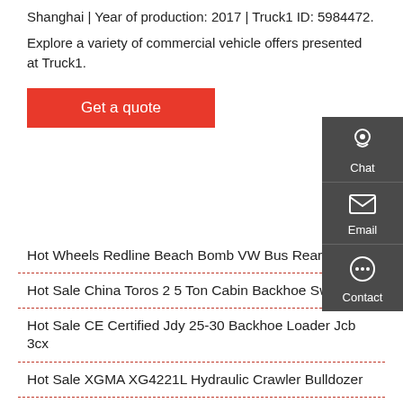Shanghai | Year of production: 2017 | Truck1 ID: 5984472.
Explore a variety of commercial vehicle offers presented at Truck1.
Get a quote
Hot Wheels Redline Beach Bomb VW Bus Rear Loader
Hot Sale China Toros 2 5 Ton Cabin Backhoe Swing
Hot Sale CE Certified Jdy 25-30 Backhoe Loader Jcb 3cx
Hot Sale XGMA XG4221L Hydraulic Crawler Bulldozer
Hot Sale For CT18-9BS 1 Backhoe Crawler Mini
Hot Sale New Design Hydraulic 1 Ton Wheel Loader